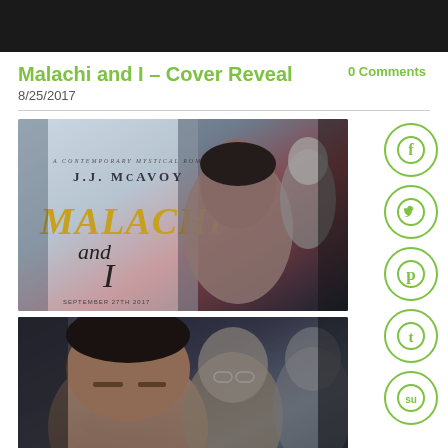Malachi and I – Cover Reveal
8/25/2017
0 Comments
[Figure (photo): Book cover for 'Malachi and I' by J.J. McAvoy – A contemporary mystical romance. Shows dramatic male figures with moody lighting. Text: 'A Contemporary Mystical Romance by J.J. McAvoy, Malachi and I, September 27th 2017']
[Figure (photo): Second promotional image for 'Malachi and I' showing close-up male figures in dark, moody tones]
[Figure (infographic): Social media share buttons: Facebook (f), Twitter bird, Pinterest (p), Tumblr (t), StumbleUpon (su) — all in green circle outlines]